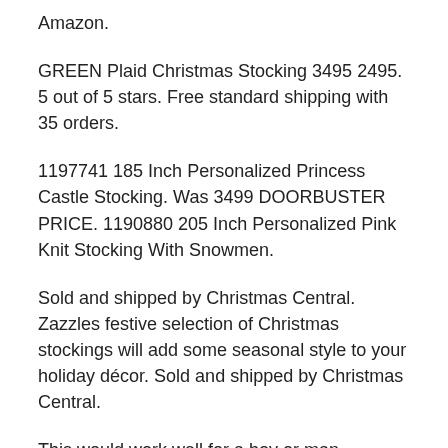Amazon.
GREEN Plaid Christmas Stocking 3495 2495. 5 out of 5 stars. Free standard shipping with 35 orders.
1197741 185 Inch Personalized Princess Castle Stocking. Was 3499 DOORBUSTER PRICE. 1190880 205 Inch Personalized Pink Knit Stocking With Snowmen.
Sold and shipped by Christmas Central. Zazzles festive selection of Christmas stockings will add some seasonal style to your holiday décor. Sold and shipped by Christmas Central.
This would work well for a boy or man because of the muted colors but could work for a girl or